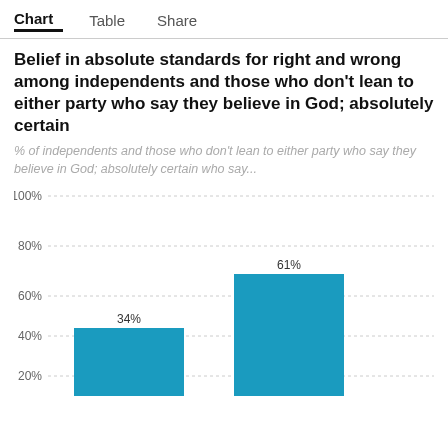Chart  Table  Share
Belief in absolute standards for right and wrong among independents and those who don't lean to either party who say they believe in God; absolutely certain
% of independents and those who don't lean to either party who say they believe in God; absolutely certain who say...
[Figure (bar-chart): Belief in absolute standards for right and wrong among independents]